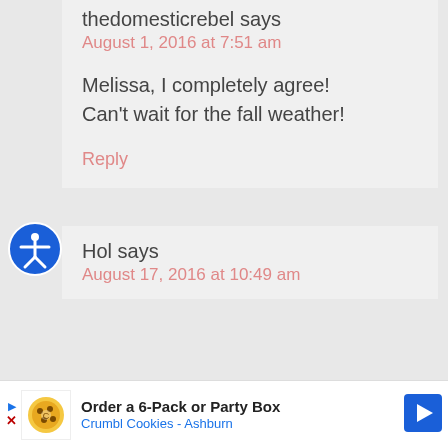thedomesticrebel says
August 1, 2016 at 7:51 am
Melissa, I completely agree! Can't wait for the fall weather!
Reply
[Figure (other): Accessibility icon — blue circle with white figure of a person with arms outstretched]
Hol says
August 17, 2016 at 10:49 am
[Figure (other): Advertisement banner: Order a 6-Pack or Party Box — Crumbl Cookies - Ashburn, with Crumbl Cookies logo and navigation arrow icon]